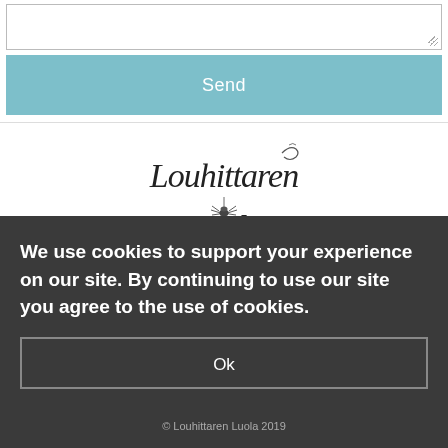[Figure (other): Form textarea input field with resize handle in bottom-right corner]
Send
[Figure (logo): Louhittaren Luola decorative script logo with spider illustration]
Dye Studio and Factory Shop located at Välitie 4, 90830 Haukipudas
Billing Address: Ahtaajantie 6, 90850 Martinniemi
tel. 0400-594915
We use cookies to support your experience on our site. By continuing to use our site you agree to the use of cookies.
Ok
© Louhittaren Luola 2019